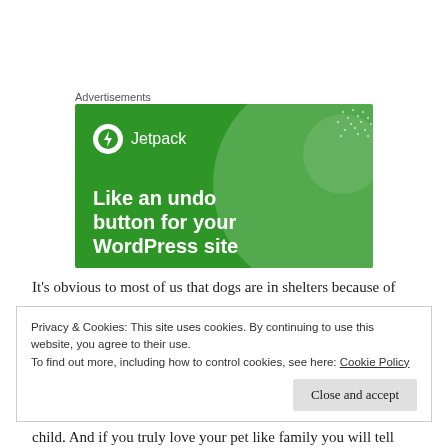Advertisements
[Figure (illustration): Jetpack advertisement banner with green background, Jetpack logo with lightning bolt icon, decorative circles, dot pattern, and text 'Like an undo button for your WordPress site']
It's obvious to most of us that dogs are in shelters because of
Privacy & Cookies: This site uses cookies. By continuing to use this website, you agree to their use.
To find out more, including how to control cookies, see here: Cookie Policy
Close and accept
child. And if you truly love your pet like family you will tell